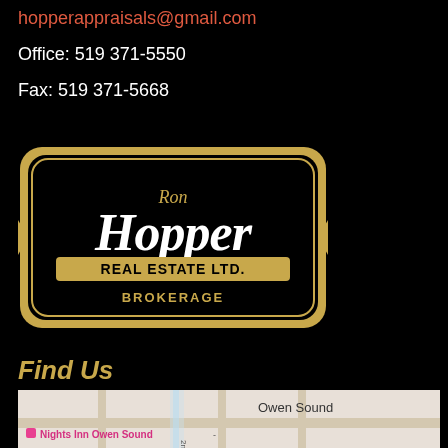hopperappraisals@gmail.com
Office: 519 371-5550
Fax: 519 371-5668
[Figure (logo): Ron Hopper Real Estate Ltd. Brokerage logo — black badge with gold border, old English typography]
Find Us
[Figure (map): Google Maps screenshot showing Owen Sound area with landmarks: Nights Inn Owen Sound, Tom Thomson Art Gallery, Dairy Queen Grill & Chill, 2nd Ave E]